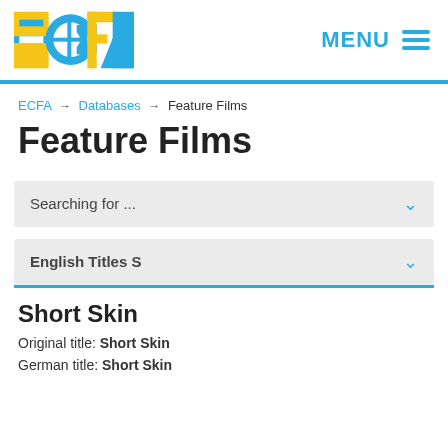[Figure (logo): ECFA logo with yellow and blue geometric shapes forming letters E, C, F, A]
MENU ≡
ECFA → Databases → Feature Films
Feature Films
Searching for ...
English Titles S
Short Skin
Original title: Short Skin
German title: Short Skin